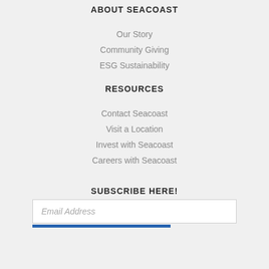ABOUT SEACOAST
Our Story
Community Giving
ESG Sustainability
RESOURCES
Contact Seacoast
Visit a Location
Invest with Seacoast
Careers with Seacoast
SUBSCRIBE HERE!
Email Address